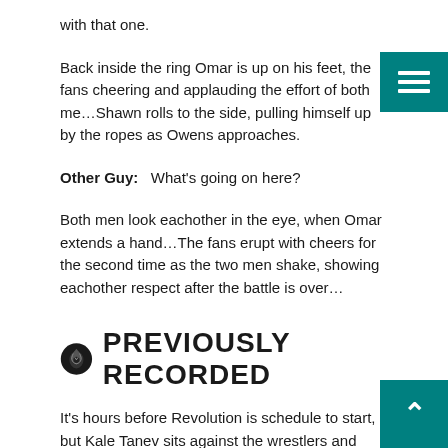with that one.
Back inside the ring Omar is up on his feet, the fans cheering and applauding the effort of both me…Shawn rolls to the side, pulling himself up by the ropes as Owens approaches.
Other Guy:   What's going on here?
Both men look eachother in the eye, when Omar extends a hand…The fans erupt with cheers for the second time as the two men shake, showing eachother respect after the battle is over…
PREVIOUSLY RECORDED
It's hours before Revolution is schedule to start, but Kale Tanev sits against the wrestlers and staff entr...